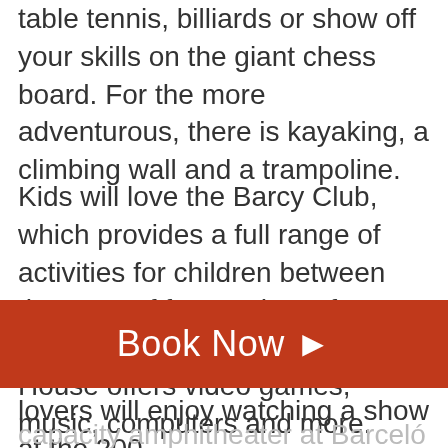table tennis, billiards or show off your skills on the giant chess board. For the more adventurous, there is kayaking, a climbing wall and a trampoline.
Kids will love the Barcy Club, which provides a full range of activities for children between the ages of four and 12. If you're traveling with teens, the Teens' House offers video games, music, computers and more. Babysitting is available for
Book Now ▶
lovers will enjoy watching a show at the 200-
capacity amphitheater at Barceló Tambor. A free nightclub is open until 3:00 a.m. each night, or if